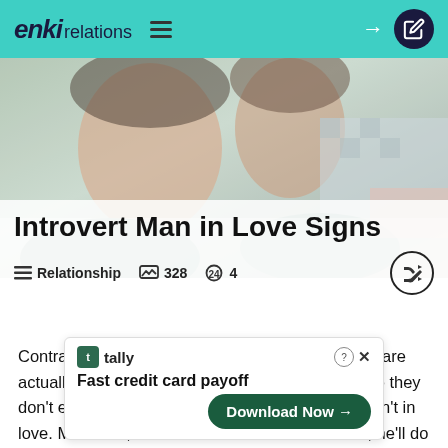enki relations
[Figure (photo): A couple in an intimate pose, hero image for article about introvert man in love signs]
Introvert Man in Love Signs
≡ Relationship  📊 328  🔍 4
Contrary to what most people think, the introverts are actually very sensitive and romantic. Just because they don't express their feelings doesn't mean they aren't in love. Moreover, when an introvert man is in love, he'll do everything in his power to show you how much you mean [ad] lic declar [ad] s to